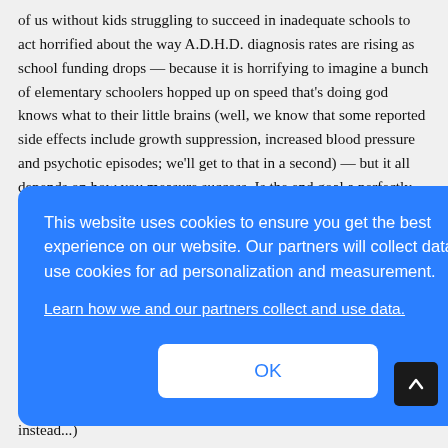of us without kids struggling to succeed in inadequate schools to act horrified about the way A.D.H.D. diagnosis rates are rising as school funding drops — because it is horrifying to imagine a bunch of elementary schoolers hopped up on speed that's doing god knows what to their little brains (well, we know that some reported side effects include growth suppression, increased blood pressure and psychotic episodes; we'll get to that in a second) — but it all depends on how you measure success. Is the end goal a perfectly clear blood stream or good grades against the odds? Some parents (and doctors) would choose the
[Figure (screenshot): Cookie consent modal dialog with blue background. Text reads: 'This website uses cookies to ensure you get the best experience on our website. Our partners will collect data and use cookies for ad personalization and measurement.' A link reads 'Learn how we and our partners collect and use data.' An OK button is centered at the bottom.]
prescription costs. (Too bad they don't cover tutors or therapy instead...)